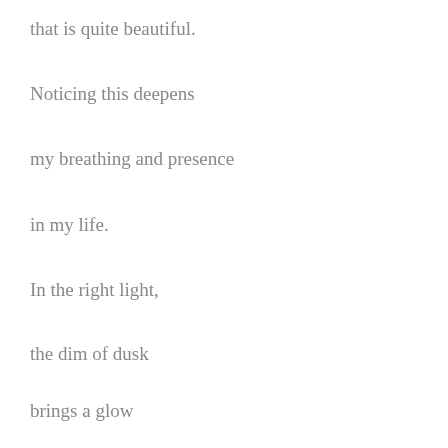that is quite beautiful.
Noticing this deepens
my breathing and presence
in my life.
In the right light,
the dim of dusk
brings a glow
which kisses everything.
The quality of this light